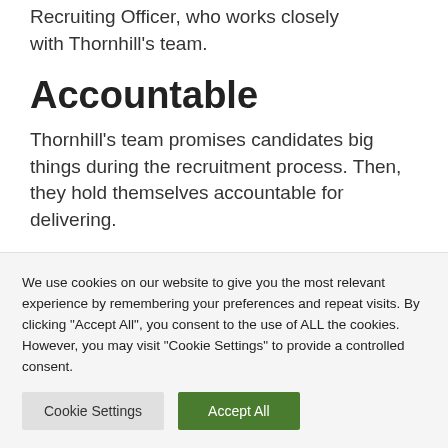Recruiting Officer, who works closely with Thornhill's team.
Accountable
Thornhill's team promises candidates big things during the recruitment process. Then, they hold themselves accountable for delivering.
We use cookies on our website to give you the most relevant experience by remembering your preferences and repeat visits. By clicking "Accept All", you consent to the use of ALL the cookies. However, you may visit "Cookie Settings" to provide a controlled consent.